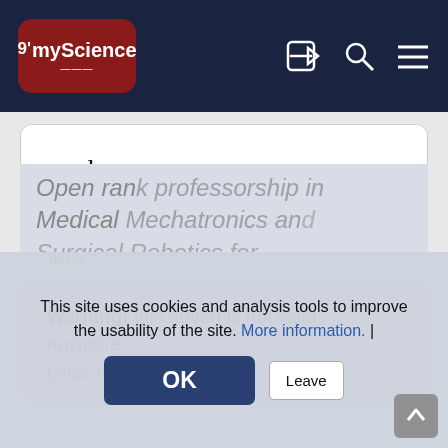[Figure (logo): myScience website navigation bar with logo, login arrow, search and menu icons on dark navy background]
[Figure (logo): University of Bern logo: italic script ub with superscript b, horizontal rule, and red text UNIVERSITÄT BERN]
Warning: this advert is not valid anymore. (2022-06-30)
Open rank professorship in Medical Mechatronics and Surgical Robotics for
This site uses cookies and analysis tools to improve the usability of the site. More information. |